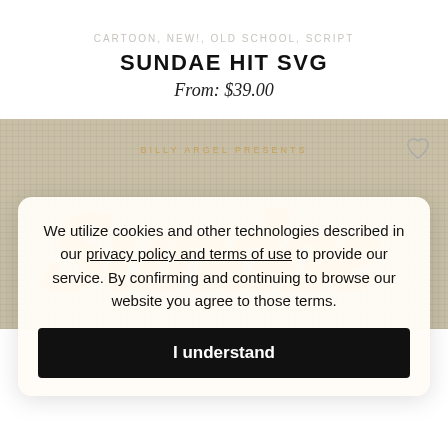CARTOON, NEW!, OLD SCHOOL, SCRIPT
SUNDAE HIT SVG
From: $39.00
[Figure (illustration): Product preview image showing stylized orange script lettering on a tan/burlap textured background with text 'BILLY ARGEL PRESENTS' above the decorative lettering. A heart/wishlist icon appears in the top right corner.]
We utilize cookies and other technologies described in our privacy policy and terms of use to provide our service. By confirming and continuing to browse our website you agree to those terms.
I understand